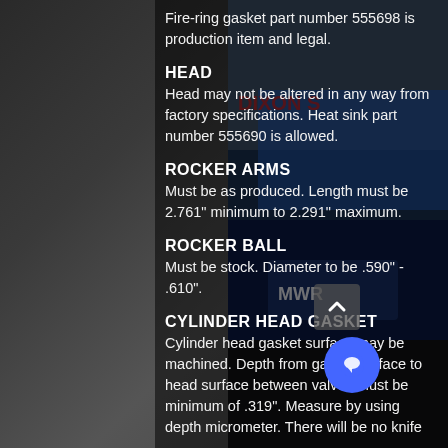Fire-ring gasket part number 555698 is production item and legal.
HEAD
Head may not be altered in any way from factory specifications. Heat sink part number 555690 is allowed.
ROCKER ARMS
Must be as produced. Length must be 2.761" minimum to 2.291" maximum.
ROCKER BALL
Must be stock. Diameter to be .590" - .610".
CYLINDER HEAD GASKET
Cylinder head gasket surface may be machined. Depth from gasket surface to head surface between valves must be minimum of .319". Measure by using depth micrometer. There will be no knife